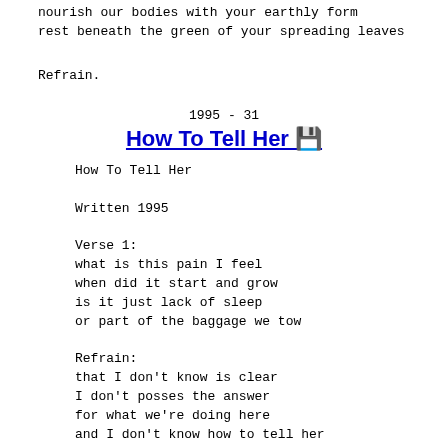nourish our bodies with your earthly form
rest beneath the green of your spreading leaves
Refrain.
1995 - 31
How To Tell Her
How To Tell Her

Written 1995

Verse 1:
what is this pain I feel
when did it start and grow
is it just lack of sleep
or part of the baggage we tow

Refrain:
that I don't know is clear
I don't posses the answer
for what we're doing here
and I don't know how to tell her

Verse 2:
what is this dream I hold
when did it start to ache and burn
am I just getting old
or waiting years waiting for my turn